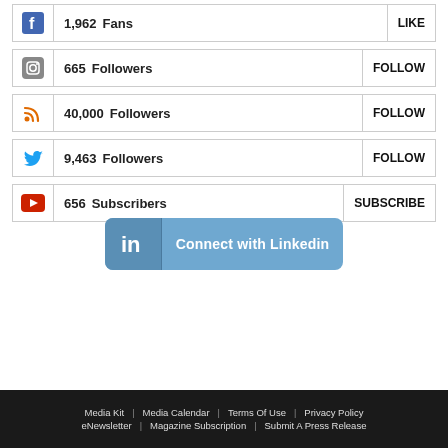1,962 Fans | LIKE
665 Followers | FOLLOW
40,000 Followers | FOLLOW
9,463 Followers | FOLLOW
656 Subscribers | SUBSCRIBE
[Figure (other): LinkedIn Connect button with 'in' logo and text 'Connect with Linkedin']
Media Kit   Media Calendar   Terms Of Use   Privacy Policy   eNewsletter   Magazine Subscription   Submit A Press Release